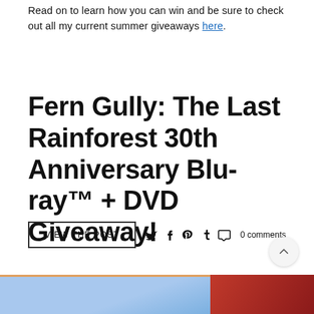Read on to learn how you can win and be sure to check out all my current summer giveaways here.
Fern Gully: The Last Rainforest 30th Anniversary Blu-ray™ + DVD Giveaway!
VIEW the POST  [twitter] [facebook] [pinterest] [tumblr] [comment] 0 comments
[Figure (photo): Two partially visible thumbnail images at the bottom of the page: left is blue/light colored, right is red/dark colored.]